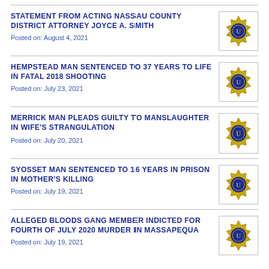STATEMENT FROM ACTING NASSAU COUNTY DISTRICT ATTORNEY JOYCE A. SMITH
Posted on: August 4, 2021
HEMPSTEAD MAN SENTENCED TO 37 YEARS TO LIFE IN FATAL 2018 SHOOTING
Posted on: July 23, 2021
MERRICK MAN PLEADS GUILTY TO MANSLAUGHTER IN WIFE'S STRANGULATION
Posted on: July 20, 2021
SYOSSET MAN SENTENCED TO 16 YEARS IN PRISON IN MOTHER'S KILLING
Posted on: July 19, 2021
ALLEGED BLOODS GANG MEMBER INDICTED FOR FOURTH OF JULY 2020 MURDER IN MASSAPEQUA
Posted on: July 19, 2021